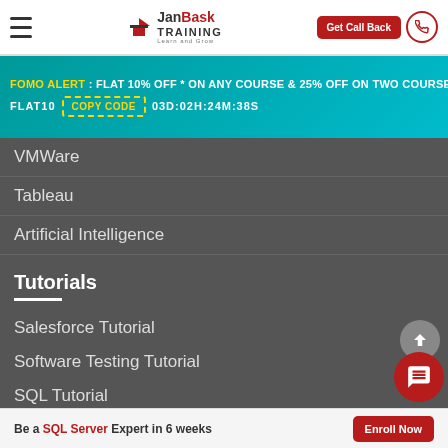JanBask TRAINING Learn and Grow | Get Call Back
FOMO ALERT : FLAT 10% OFF * ON ANY COURSE & 25% OFF ON TWO COURSES FLAT10 COPY CODE 03D:02H:24M:38S
Android Develop...
VMWare
Tableau
Artificial Intelligence
Tutorials
Salesforce Tutorial
Software Testing Tutorial
SQL Tutorial
Business Analyst Tutorial
Devops Tutorial
Be a SQL Server Expert in 6 weeks  Enroll Now